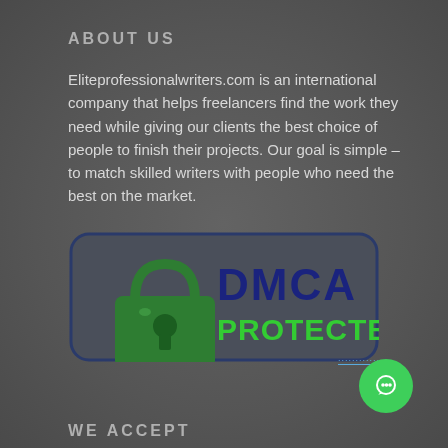ABOUT US
Eliteprofessionalwriters.com is an international company that helps freelancers find the work they need while giving our clients the best choice of people to finish their projects. Our goal is simple – to match skilled writers with people who need the best on the market.
[Figure (logo): DMCA PROTECTED badge with a green padlock icon and dark navy blue text reading DMCA with green text PROTECTED below]
WE ACCEPT